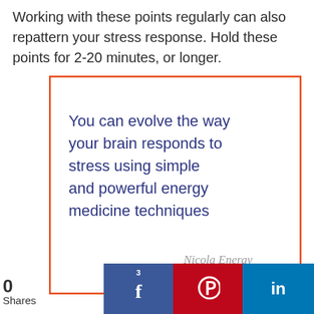Working with these points regularly can also repattern your stress response. Hold these points for 2-20 minutes, or longer.
[Figure (infographic): Framed quote box with orange border containing text: 'You can evolve the way your brain responds to stress using simple and powerful energy medicine techniques' with signature 'Nicola Energy']
0 Shares | 3 Facebook shares | Pinterest | LinkedIn